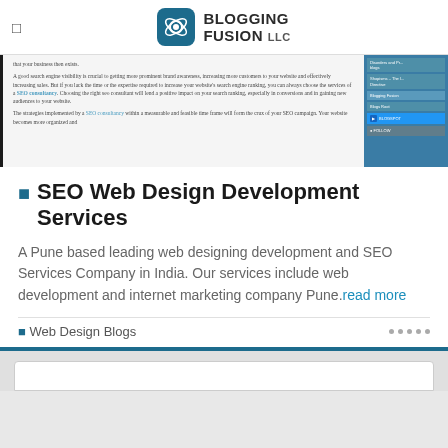BLOGGING FUSION LLC
[Figure (screenshot): Partial screenshot of a web page showing body text about SEO consultancy and a sidebar with blog links and a Follow button.]
SEO Web Design Development Services
A Pune based leading web designing development and SEO Services Company in India. Our services include web development and internet marketing company Pune.read more
Web Design Blogs